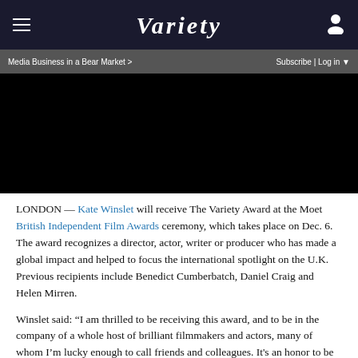Variety
Media Business in a Bear Market >    Subscribe | Log in
[Figure (photo): Black video player thumbnail area]
LONDON — Kate Winslet will receive The Variety Award at the Moet British Independent Film Awards ceremony, which takes place on Dec. 6. The award recognizes a director, actor, writer or producer who has made a global impact and helped to focus the international spotlight on the U.K. Previous recipients include Benedict Cumberbatch, Daniel Craig and Helen Mirren.
Winslet said: “I am thrilled to be receiving this award, and to be in the company of a whole host of brilliant filmmakers and actors, many of whom I’m lucky enough to call friends and colleagues. It's an honor to be flying the flag for British filmmaking.”